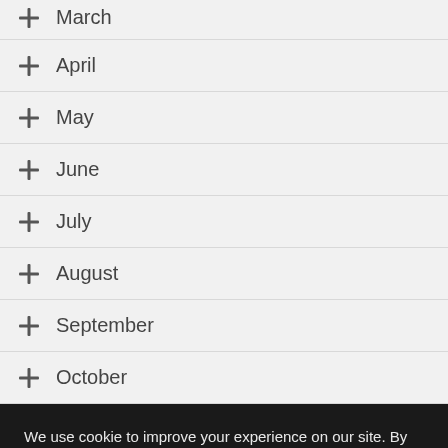March
April
May
June
July
August
September
October
We use cookie to improve your experience on our site. By using our site you consent cookies. Learn more
Got it